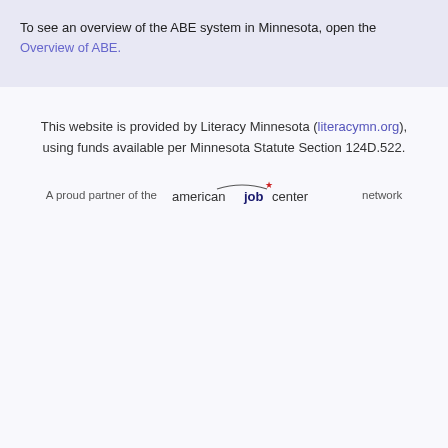To see an overview of the ABE system in Minnesota, open the Overview of ABE.
This website is provided by Literacy Minnesota (literacymn.org), using funds available per Minnesota Statute Section 124D.522.
[Figure (logo): American Job Center logo with text: A proud partner of the american job center network]